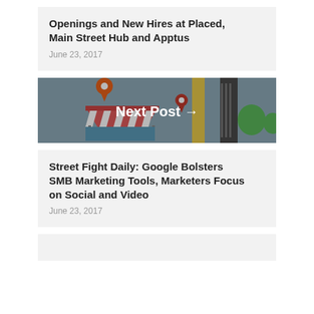Openings and New Hires at Placed, Main Street Hub and Apptus
June 23, 2017
[Figure (illustration): Illustration of street map with location pins and a market stall, overlaid with 'Next Post →' text in white]
Street Fight Daily: Google Bolsters SMB Marketing Tools, Marketers Focus on Social and Video
June 23, 2017